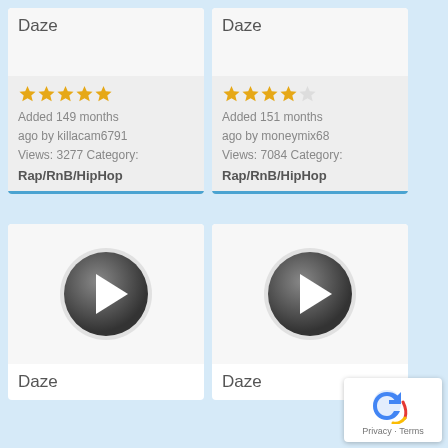Daze
★★★★★ Added 149 months ago by killacam6791 Views: 3277 Category: Rap/RnB/HipHop
Daze
★★★★☆ Added 151 months ago by moneymix68 Views: 7084 Category: Rap/RnB/HipHop
[Figure (illustration): Play button icon for Daze music item]
Daze
[Figure (illustration): Play button icon for Daze music item]
Daze
[Figure (logo): reCAPTCHA badge with Privacy - Terms text]